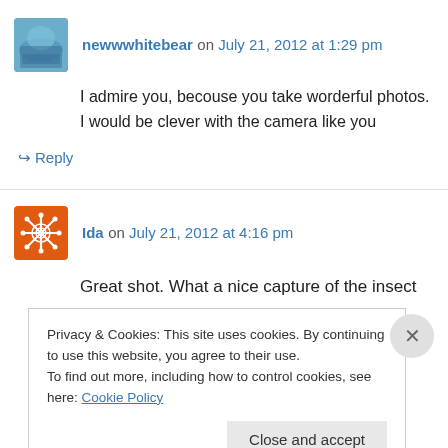newwwhitebear on July 21, 2012 at 1:29 pm
I admire you, becouse you take worderful photos. I would be clever with the camera like you
↳ Reply
Ida on July 21, 2012 at 4:16 pm
Great shot. What a nice capture of the insect
Privacy & Cookies: This site uses cookies. By continuing to use this website, you agree to their use.
To find out more, including how to control cookies, see here: Cookie Policy
Close and accept